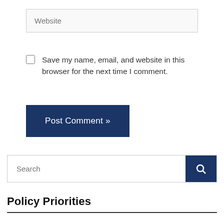Website
Save my name, email, and website in this browser for the next time I comment.
Post Comment »
Search
Policy Priorities